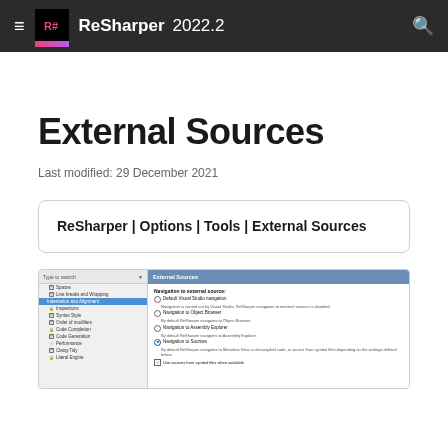ReSharper 2022.2
External Sources
Last modified: 29 December 2021
ReSharper | Options | Tools | External Sources
[Figure (screenshot): ReSharper Options dialog showing External Sources settings panel with navigation options including Default Visual Studio navigation, Navigation to Object Browser, Navigation to Assembly Explorer, Navigation to Sources (selected), and Use sources from symbol files when available checkbox.]